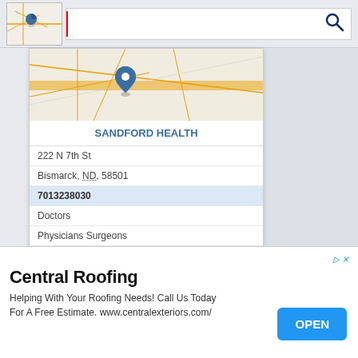[Figure (screenshot): Search bar with red cursor and magnifying glass icon]
[Figure (map): Map thumbnail showing Bismarck ND area with blue location pin]
SANDFORD HEALTH
222 N 7th St
Bismarck, ND, 58501
7013238030
Doctors
Physicians Surgeons
[Figure (map): Map thumbnail showing area with blue location pin]
SANDHU, ANKUR, MD
Broadway Ave
Central Roofing
Helping With Your Roofing Needs! Call Us Today For A Free Estimate. www.centralexteriors.com/